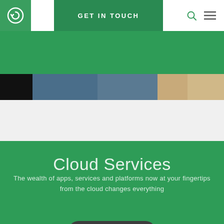[Figure (logo): Green square logo with white circular Q/arrow icon]
GET IN TOUCH
[Figure (photo): Photo strip showing office/building interior scenes in dark tones with blue glass and wooden elements]
Cloud Services
The wealth of apps, services and platforms now at your fingertips from the cloud changes everything
LEARN MORE